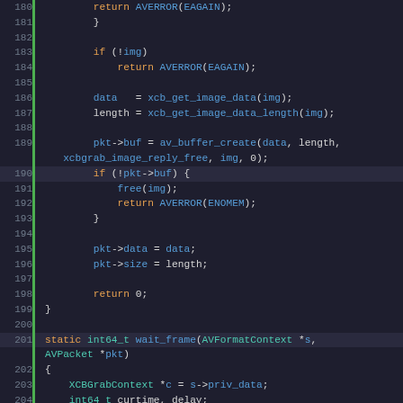[Figure (screenshot): Source code editor showing C code, lines 180-212, with syntax highlighting. Green line at left margin. Dark background theme. Code includes xcb image grab functions, av_buffer_create, pkt->buf/data/size assignments, and wait_frame function definition with time frame loop logic.]